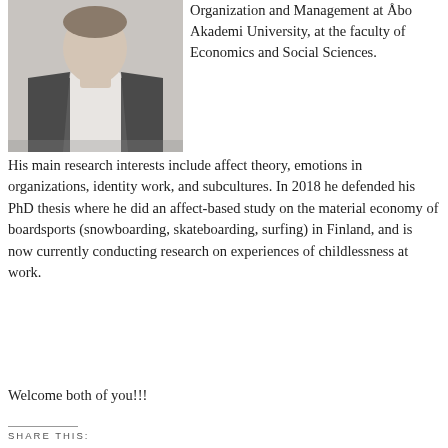[Figure (photo): Portrait photo of a man in a grey suit jacket and white shirt, cropped at torso, light background.]
Organization and Management at Åbo Akademi University, at the faculty of Economics and Social Sciences. His main research interests include affect theory, emotions in organizations, identity work, and subcultures. In 2018 he defended his PhD thesis where he did an affect-based study on the material economy of boardsports (snowboarding, skateboarding, surfing) in Finland, and is now currently conducting research on experiences of childlessness at work.
Welcome both of you!!!
SHARE THIS: